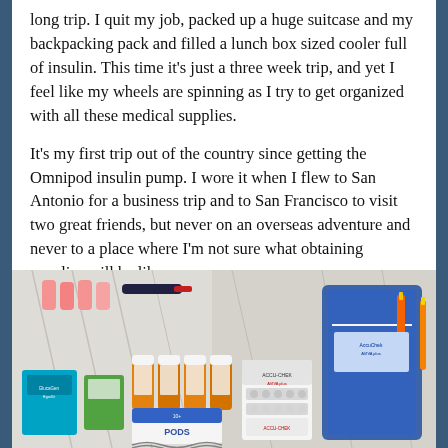long trip. I quit my job, packed up a huge suitcase and my backpacking pack and filled a lunch box sized cooler full of insulin. This time it's just a three week trip, and yet I feel like my wheels are spinning as I try to get organized with all these medical supplies.
It's my first trip out of the country since getting the Omnipod insulin pump. I wore it when I flew to San Antonio for a business trip and to San Francisco to visit two great friends, but never on an overseas adventure and never to a place where I'm not sure what obtaining supplies will be like.
[Figure (photo): Photo of various diabetes medical supplies laid out on a white bed/surface, including insulin vials, Omnipod pods box, AccuChek supplies, pill bottles, a blue insulin cooler bag with a pen, and other travel medical items.]